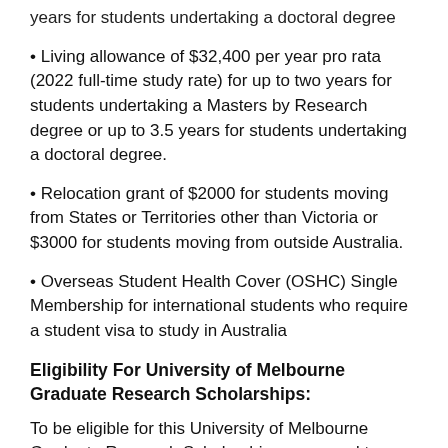years for students undertaking a doctoral degree
• Living allowance of $32,400 per year pro rata (2022 full-time study rate) for up to two years for students undertaking a Masters by Research degree or up to 3.5 years for students undertaking a doctoral degree.
• Relocation grant of $2000 for students moving from States or Territories other than Victoria or $3000 for students moving from outside Australia.
• Overseas Student Health Cover (OSHC) Single Membership for international students who require a student visa to study in Australia
Eligibility For University of Melbourne Graduate Research Scholarships:
To be eligible for this University of Melbourne Graduate Research Scholarships, you need to have applied for and meet the entry requirements for a graduate research degree at the University of Melbourne, or the